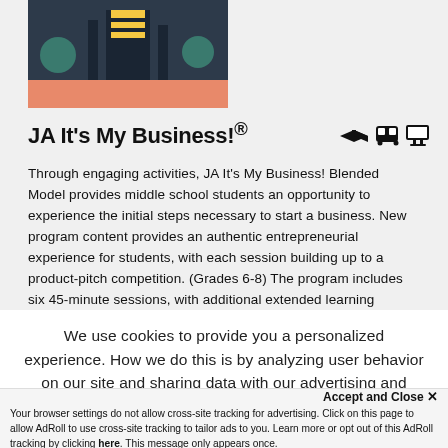[Figure (illustration): Decorative illustration showing a school/university building with a dark background and orange base bar]
JA It's My Business!®
Through engaging activities, JA It's My Business! Blended Model provides middle school students an opportunity to experience the initial steps necessary to start a business. New program content provides an authentic entrepreneurial experience for students, with each session building up to a product-pitch competition. (Grades 6-8) The program includes six 45-minute sessions, with additional extended learning activities and optional digital assets offered throughout.
We use cookies to provide you a personalized experience. How we do this is by analyzing user behavior on our site and sharing data with our advertising and analytics partners. You consent to our
Accept and Close ✕
Your browser settings do not allow cross-site tracking for advertising. Click on this page to allow AdRoll to use cross-site tracking to tailor ads to you. Learn more or opt out of this AdRoll tracking by clicking here. This message only appears once.